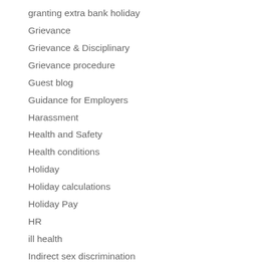granting extra bank holiday
Grievance
Grievance & Disciplinary
Grievance procedure
Guest blog
Guidance for Employers
Harassment
Health and Safety
Health conditions
Holiday
Holiday calculations
Holiday Pay
HR
ill health
Indirect sex discrimination